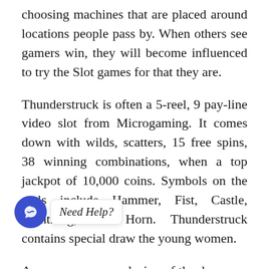choosing machines that are placed around locations people pass by. When others see gamers win, they will become influenced to try the Slot games for that they are.
Thunderstruck is often a 5-reel, 9 pay-line video slot from Microgaming. It comes down with wilds, scatters, 15 free spins, 38 winning combinations, when a top jackpot of 10,000 coins. Symbols on the reels include Hammer, Fist, Castle, Lightning, and Horn. Thunderstruck contains special draw the young women.
At the conclusion of the day, your slot cars and slot car [...]bles too, as you let them our age. Just take good care of your clothes. Purchase the [...]